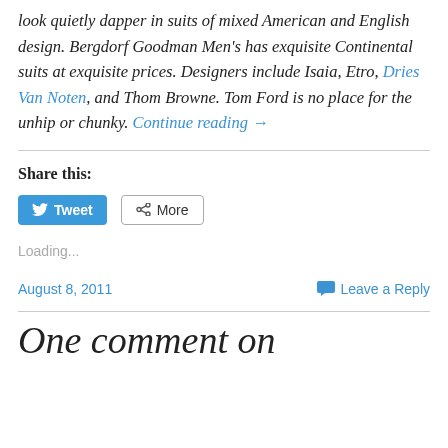look quietly dapper in suits of mixed American and English design. Bergdorf Goodman Men's has exquisite Continental suits at exquisite prices. Designers include Isaia, Etro, Dries Van Noten, and Thom Browne. Tom Ford is no place for the unhip or chunky. Continue reading →
Share this:
[Figure (screenshot): Tweet button (blue) and More button (grey outline) for sharing]
Loading...
August 8, 2011   Leave a Reply
One comment on